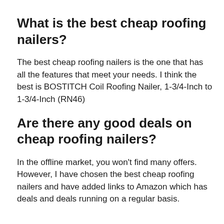What is the best cheap roofing nailers?
The best cheap roofing nailers is the one that has all the features that meet your needs. I think the best is BOSTITCH Coil Roofing Nailer, 1-3/4-Inch to 1-3/4-Inch (RN46)
Are there any good deals on cheap roofing nailers?
In the offline market, you won’t find many offers. However, I have chosen the best cheap roofing nailers and have added links to Amazon which has deals and deals running on a regular basis.